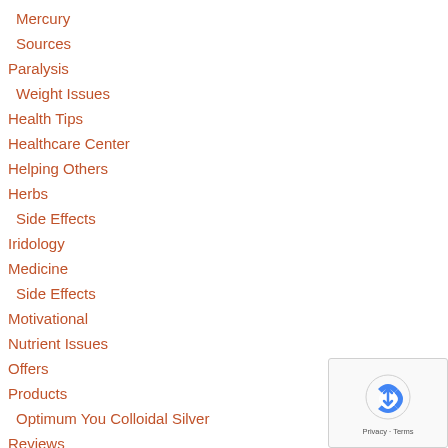Mercury
Sources
Paralysis
Weight Issues
Health Tips
Healthcare Center
Helping Others
Herbs
Side Effects
Iridology
Medicine
Side Effects
Motivational
Nutrient Issues
Offers
Products
Optimum You Colloidal Silver
Reviews
Senior Considerations
Services
[Figure (other): Google reCAPTCHA badge with Privacy and Terms links]